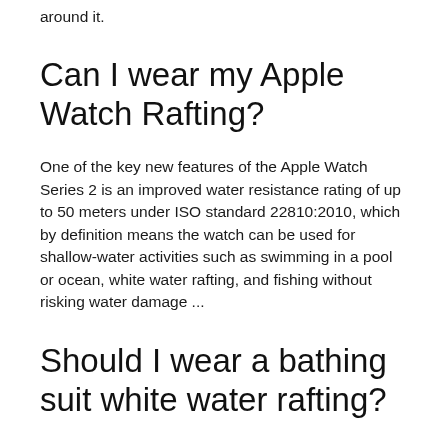around it.
Can I wear my Apple Watch Rafting?
One of the key new features of the Apple Watch Series 2 is an improved water resistance rating of up to 50 meters under ISO standard 22810:2010, which by definition means the watch can be used for shallow-water activities such as swimming in a pool or ocean, white water rafting, and fishing without risking water damage ...
Should I wear a bathing suit white water rafting?